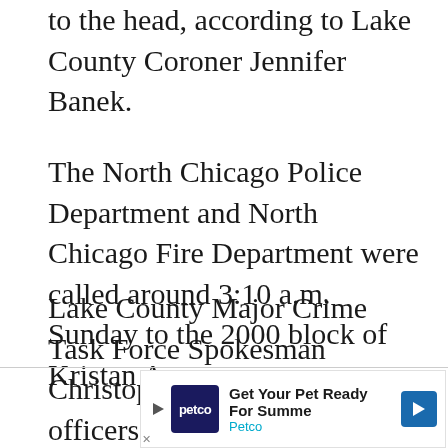to the head, according to Lake County Coroner Jennifer Banek.
The North Chicago Police Department and North Chicago Fire Department were called around 3:10 a.m. Sunday to the 2000 block of Kristan Avenue.
Lake County Major Crime Task Force Spokesman Christopher Covelli said officers responded to a call of a person shot.
[Figure (other): Petco advertisement banner: Get Your Pet Ready For Summe — Petco, with Petco logo and blue arrow button]